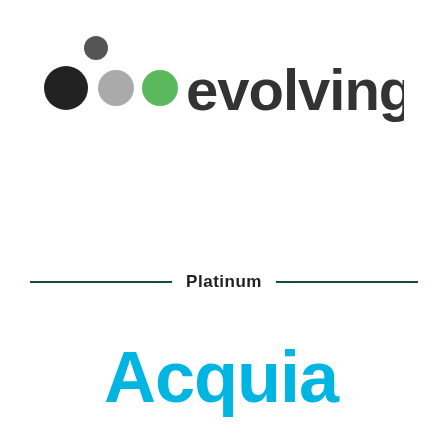[Figure (logo): Evolving Web logo with colored dot grid pattern and the text 'evolvingweb' in dark gray/green sans-serif font]
Platinum
[Figure (logo): Acquia logo in cyan/light blue bold sans-serif font]